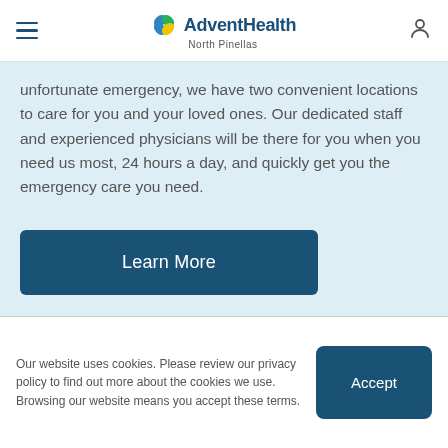AdventHealth North Pinellas
unfortunate emergency, we have two convenient locations to care for you and your loved ones. Our dedicated staff and experienced physicians will be there for you when you need us most, 24 hours a day, and quickly get you the emergency care you need.
Learn More
Our website uses cookies. Please review our privacy policy to find out more about the cookies we use. Browsing our website means you accept these terms.
Accept